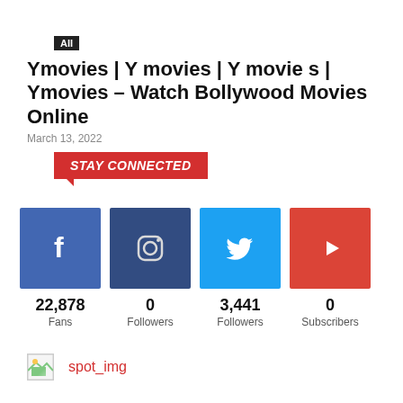All
Ymovies | Y movies | Y movie s | Ymovies – Watch Bollywood Movies Online
March 13, 2022
STAY CONNECTED
[Figure (infographic): Social media stats row: Facebook (22,878 Fans), Instagram (0 Followers), Twitter (3,441 Followers), YouTube (0 Subscribers)]
spot_img